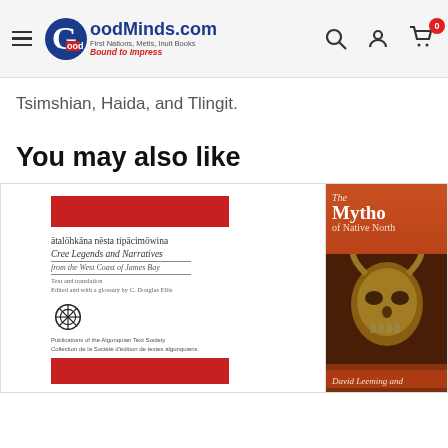GoodMinds.com — First Nations, Metis, Inuit Books. Bound to Impress.
Tsimshian, Haida, and Tlingit.
You may also like
[Figure (photo): Book cover: ātalōhkāna nēsta tipācimōwina — Cree Legends and Narratives from the West Coast of James Bay]
[Figure (photo): Book cover: The Mytho of Native North America by David Leeming and ...]